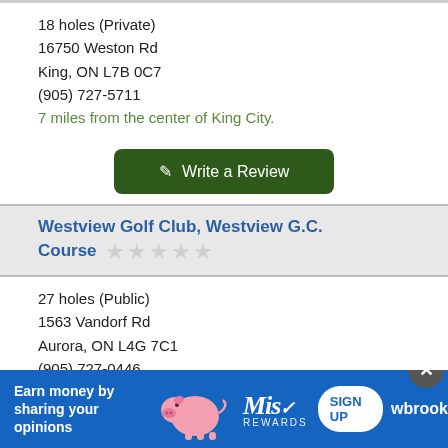18 holes (Private)
16750 Weston Rd
King, ON L7B 0C7
(905) 727-5711
7 miles from the center of King City.
Write a Review
Westview Golf Club, Westview G.C. Course
27 holes (Public)
1563 Vandorf Rd
Aurora, ON L4G 7C1
(905) 727-0446
7 miles from the center of King City.
Write a Review
Check Tee Times
[Figure (infographic): Advertisement banner: blue background, text 'Earn money by sharing your opinions', pink pig illustration, Miso Rewards logo, SIGN UP button, partial text 'wbrook']